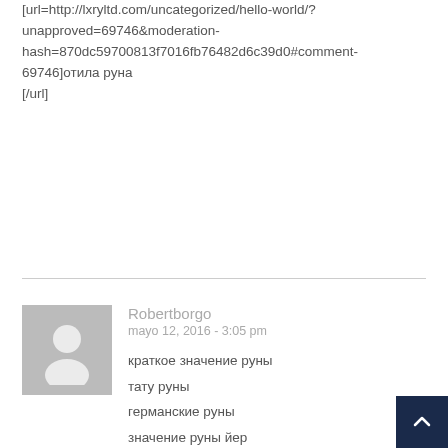[url=http://lxryltd.com/uncategorized/hello-world/?unapproved=69746&moderation-hash=870dc59700813f7016fb76482d6c39d0#comment-69746]отила руна
[/url]
Robertborgo
mayo 12, 2016 - 3:05 pm
краткое значение руны
тату руны
германские руны
значение руны йер
руна ингваз
http://moremed.org/showthread.php?tid=8&pid=9#pid9
https://52.78.224.240/viewtopic.php?f=4&t=35863&p=98986#p98986
https://msdrussia.ru/forum/viewtopic.php?f=4&t=602&p=2136#p2136